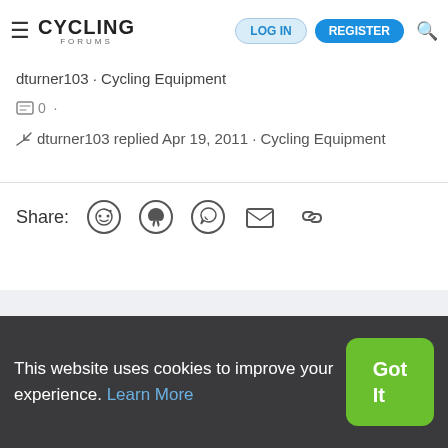CYCLING FORUMS  LOG IN  REGISTER
dturner103 · Cycling Equipment
0 ·
↩ dturner103 replied Apr 19, 2011 · Cycling Equipment
Share:
Contact us  Terms and rules  Privacy policy  Help  Home
This website uses cookies to improve your experience. Learn More  Got It